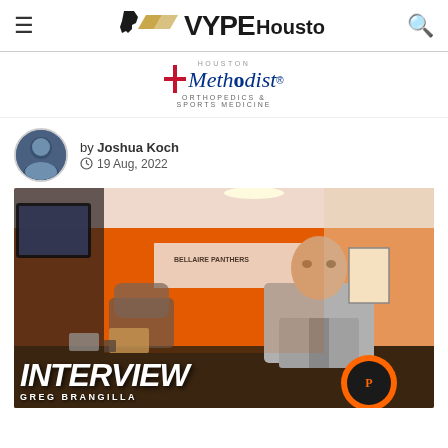VYPE Houston
[Figure (logo): Houston Methodist Orthopedics & Sports Medicine logo]
by Joshua Koch
19 Aug, 2022
[Figure (photo): A football coach sitting at a desk in an orange office with Panthers branding. Overlay text reads INTERVIEW and GREG BRANGILLA at the bottom.]